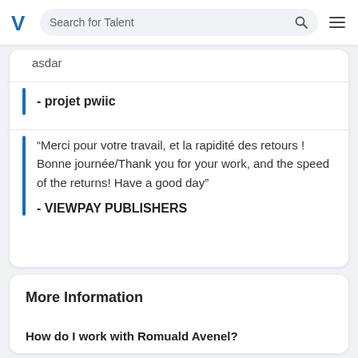Search for Talent
asdar
- projet pwiic
“Merci pour votre travail, et la rapidité des retours ! Bonne journée/Thank you for your work, and the speed of the returns! Have a good day”
- VIEWPAY PUBLISHERS
More Information
How do I work with Romuald Avenel?